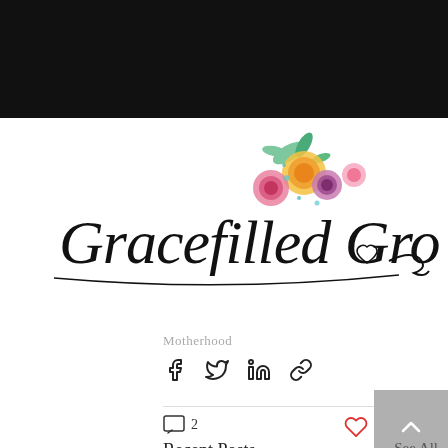[Figure (photo): Top portion of a dark/black photo cropped at the top]
[Figure (logo): Gracefilled Growth cursive script logo with colorful watercolor floral arrangement (pink, orange, yellow, teal flowers and leaves) above the text]
Motherhood
[Figure (infographic): Social sharing icons row: Facebook, Twitter, LinkedIn, and link/chain icon]
2 (comment count)
Recent Posts
See All
[Figure (photo): Row of partial thumbnail images at the bottom of the page]